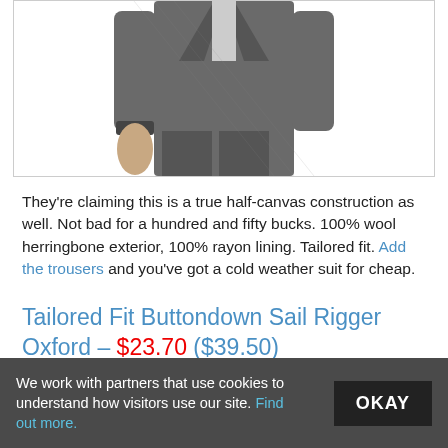[Figure (photo): Partial view of a man wearing a dark grey herringbone suit, showing torso and hand, cropped at top and bottom]
They're claiming this is a true half-canvas construction as well. Not bad for a hundred and fifty bucks. 100% wool herringbone exterior, 100% rayon lining. Tailored fit. Add the trousers and you've got a cold weather suit for cheap.
Tailored Fit Buttondown Sail Rigger Oxford – $23.70 ($39.50)
[Figure (photo): Broken image placeholder for Tailored Fit Buttondown Sail Rigger Oxford product image]
We work with partners that use cookies to understand how visitors use our site. Find out more.